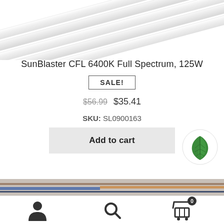[Figure (photo): Partial view of a white CFL grow light bulb on white background]
SunBlaster CFL 6400K Full Spectrum, 125W
SALE!
$56.99  $35.41
SKU: SL0900163
Add to cart
[Figure (logo): Green leaf logo icon in white circle]
[Figure (photo): Bottom strip showing partial product images]
[Figure (infographic): Bottom navigation bar with user icon, search icon, and cart icon with badge showing 0]